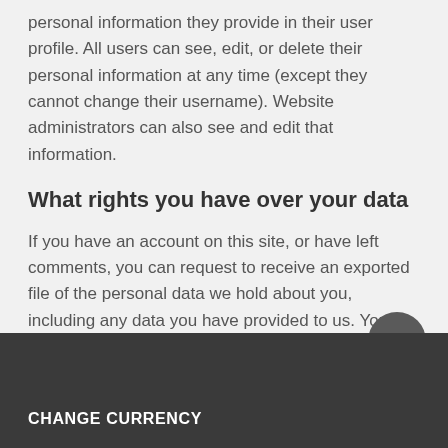personal information they provide in their user profile. All users can see, edit, or delete their personal information at any time (except they cannot change their username). Website administrators can also see and edit that information.
What rights you have over your data
If you have an account on this site, or have left comments, you can request to receive an exported file of the personal data we hold about you, including any data you have provided to us. You can also request that we erase any personal data we hold about you. This does not include any data we are obliged to keep for administrative, legal, or security purposes.
CHANGE CURRENCY